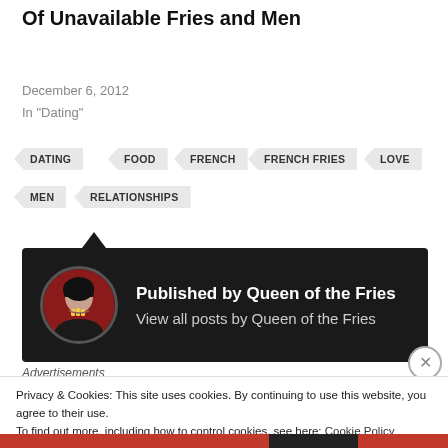Of Unavailable Fries and Men
December 6, 2012
In "Dating"
DATING
FOOD
FRENCH
FRENCH FRIES
LOVE
MEN
RELATIONSHIPS
[Figure (photo): Author card with dark background showing circular avatar photo of a woman eating fries, with text 'Published by Queen of the Fries' and 'View all posts by Queen of the Fries']
Advertisements
Privacy & Cookies: This site uses cookies. By continuing to use this website, you agree to their use.
To find out more, including how to control cookies, see here: Cookie Policy
Close and accept